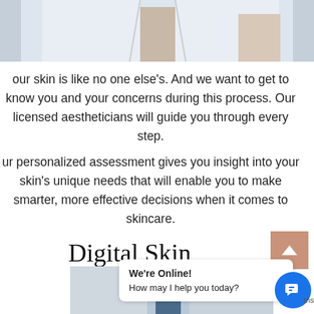[Figure (photo): Partial photo of a person in a white coat, likely a medical or aesthetician professional, cropped at top of page]
our skin is like no one else's. And we want to get to know you and your concerns during this process. Our licensed aestheticians will guide you through every step.
ur personalized assessment gives you insight into your skin's unique needs that will enable you to make smarter, more effective decisions when it comes to skincare.
Digital Skin Analysis
[Figure (other): Scroll-to-top button with upward chevron arrow on a salmon/terracotta colored background]
[Figure (photo): Bottom portion of a photo showing what appears to be a person in a clinical/medical setting]
We're Online!
How may I help you today?
[Figure (other): Blue circular chat widget icon with speech bubble icon inside]